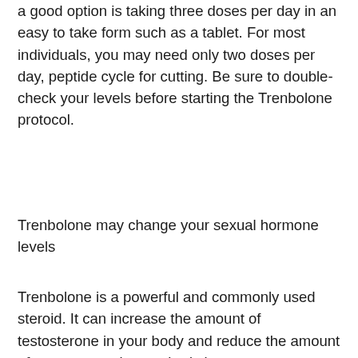a good option is taking three doses per day in an easy to take form such as a tablet. For most individuals, you may need only two doses per day, peptide cycle for cutting. Be sure to double-check your levels before starting the Trenbolone protocol.
Trenbolone may change your sexual hormone levels
Trenbolone is a powerful and commonly used steroid. It can increase the amount of testosterone in your body and reduce the amount of testosterone in your body in many cases, peptides fat burner.
Most people report a significant change in how they feel within a week or two of starting Trenbolone, maximum clenbuterol dosage.